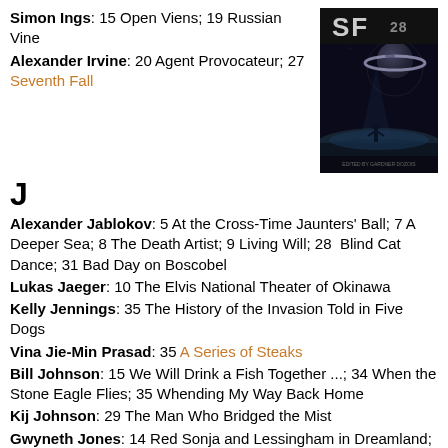Simon Ings: 15 Open Viens; 19 Russian Vine
Alexander Irvine: 20 Agent Provocateur; 27 Seventh Fall
[Figure (illustration): Book cover for SF 28, edited by Gardner Dozois, showing a sci-fi scene with a ringed planet and a figure in shadow]
J
Alexander Jablokov: 5 At the Cross-Time Jaunters' Ball; 7 A Deeper Sea; 8 The Death Artist; 9 Living Will; 28 Blind Cat Dance; 31 Bad Day on Boscobel
Lukas Jaeger: 10 The Elvis National Theater of Okinawa
Kelly Jennings: 35 The History of the Invasion Told in Five Dogs
Vina Jie-Min Prasad: 35 A Series of Steaks
Bill Johnson: 15 We Will Drink a Fish Together ...; 34 When the Stone Eagle Flies; 35 Whending My Way Back Home
Kij Johnson: 29 The Man Who Bridged the Mist
Gwyneth Jones: 14 Red Sonja and Lessingham in Dreamland; 15 Balinese Dancer; 16 La Cenerentola; 23 The Fulcrum; 25 Saving Tiamaat; 26 The Voyage Out; 29 The Vicar of Mars; 33 Emergence
K